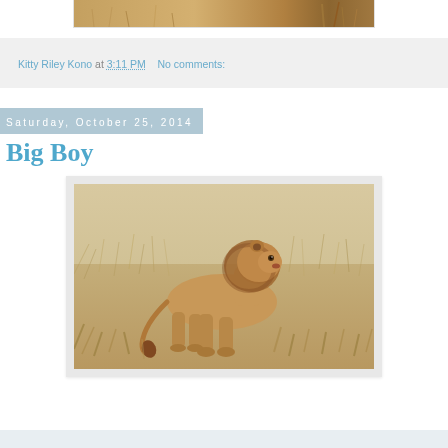[Figure (photo): Partial view of a photograph at top of page, cropped showing an animal or object in warm tones]
Kitty Riley Kono at 3:11 PM    No comments:
Saturday, October 25, 2014
Big Boy
[Figure (photo): A male lion walking through dry savanna grassland, photographed in profile, with a full mane, in warm sepia/tan tones]